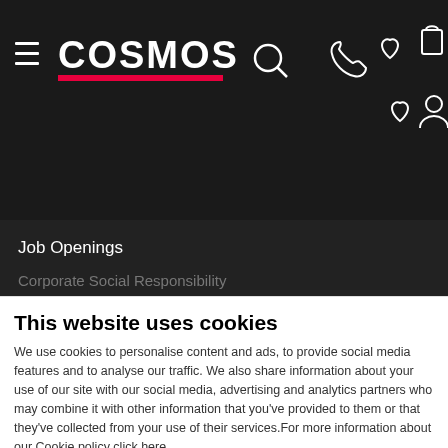[Figure (screenshot): COSMOS website navigation bar with hamburger menu, logo, search icon, phone icon, heart icon, and shopping bag icon on dark background]
Job Openings
Corporate Social Responsibility
This website uses cookies
We use cookies to personalise content and ads, to provide social media features and to analyse our traffic. We also share information about your use of our site with our social media, advertising and analytics partners who may combine it with other information that you've provided to them or that they've collected from your use of their services.For more information about our Cookie policy click here
Allow selection
Allow all cookies
Necessary  Preferences  Statistics  Marketing  Show details